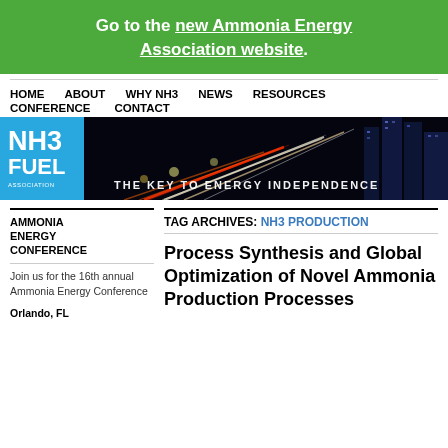Go to the new Ammonia Energy Association website.
HOME   ABOUT   WHY NH3   NEWS   RESOURCES   CONFERENCE   CONTACT
[Figure (logo): NH3 Fuel Association banner with logo on blue background and city light streaks, tagline: THE KEY TO ENERGY INDEPENDENCE]
AMMONIA ENERGY CONFERENCE
Join us for the 16th annual Ammonia Energy Conference
Orlando, FL
TAG ARCHIVES: NH3 PRODUCTION
Process Synthesis and Global Optimization of Novel Ammonia Production Processes